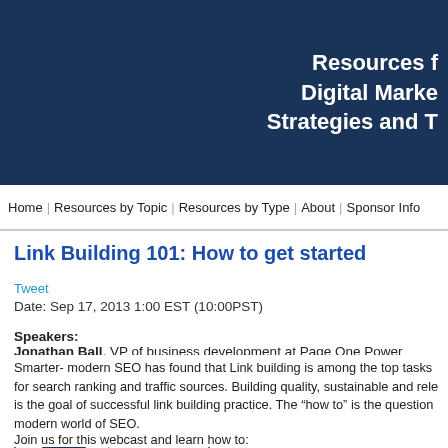Resources f Digital Marke Strategies and T
Home | Resources by Topic | Resources by Type | About | Sponsor Info
Link Building 101: How to get started
Tweet
Date: Sep 17, 2013 1:00 EST (10:00PST)
Speakers:
Jonathan Ball, VP of business development at Page One Power
[Figure (logo): Page One Power logo with a stylized P icon and text PAGE ONE POWER]
Smarter- modern SEO has found that Link building is among the top tasks for search ranking and traffic sources. Building quality, sustainable and rele is the goal of successful link building practice. The “how to” is the question modern world of SEO.
Join us for this webcast and learn how to: